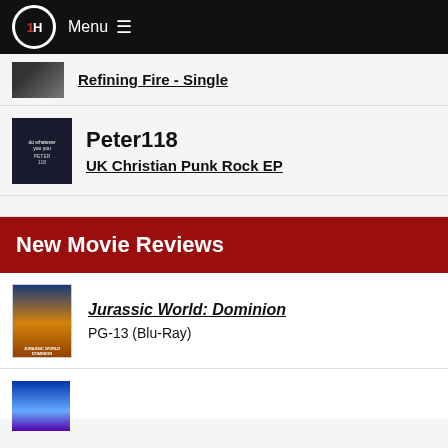IH Menu
Refining Fire - Single
Peter118
UK Christian Punk Rock EP
New Movie Reviews
Jurassic World: Dominion
PG-13 (Blu-Ray)
[Figure (photo): Partial movie thumbnail at bottom of page]